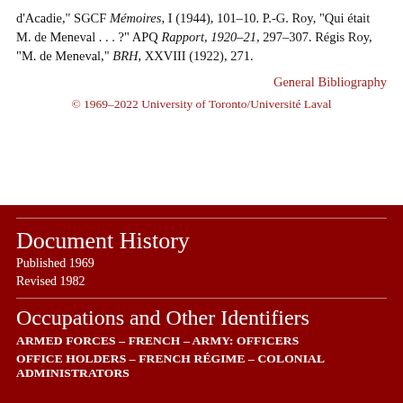d'Acadie," SGCF Mémoires, I (1944), 101–10. P.-G. Roy, "Qui était M. de Meneval . . . ?" APQ Rapport, 1920–21, 297–307. Régis Roy, "M. de Meneval," BRH, XXVIII (1922), 271.
General Bibliography
© 1969–2022 University of Toronto/Université Laval
Document History
Published 1969
Revised 1982
Occupations and Other Identifiers
ARMED FORCES – FRENCH – ARMY: OFFICERS
OFFICE HOLDERS – FRENCH RÉGIME – COLONIAL ADMINISTRATORS